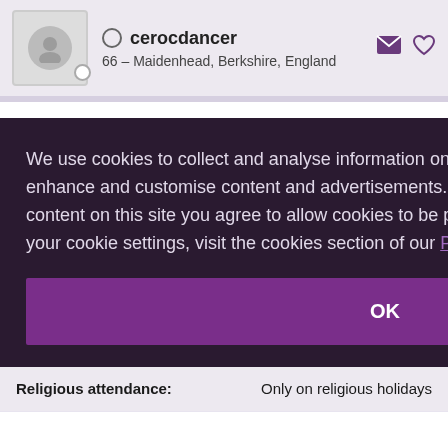cerocdancer — 66 – Maidenhead, Berkshire, England
| Field | Value |
| --- | --- |
| Pets (Have): | Dog(s); Fish |
| Pets (Like): | Cat(s) |
| [partially hidden]: | ile(s); Rodent(s) |
| [partially hidden]: | wing affection in public |
| [partially hidden]: | y have my ideal job |
| Religious attendance: | Only on religious holidays |
We use cookies to collect and analyse information on site performance and usage, and to enhance and customise content and advertisements. By clicking "OK" or clicking into any content on this site you agree to allow cookies to be placed. To find out more or to change your cookie settings, visit the cookies section of our Privacy Policy.